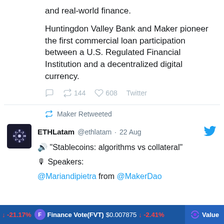and real-world finance.
Huntingdon Valley Bank and Maker pioneer the first commercial loan participation between a U.S. Regulated Financial Institution and a decentralized digital currency.
144 retweets, 608 likes, Twitter
Maker Retweeted
ETHLatam @ethlatam · 22 Aug
🔊 "Stablecoins: algorithms vs collateral"
🎙 Speakers:
@Mariandipietra from @MakerDao
-21.17% Finance Vote(FVT) $0.007875 -2.41% Value